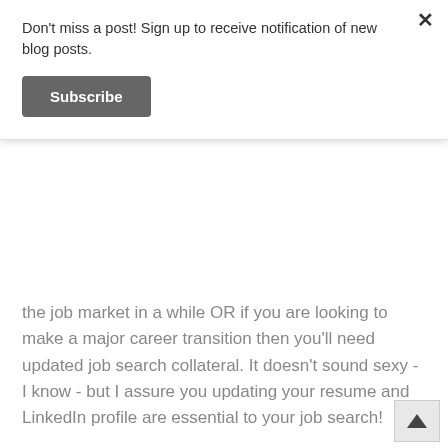Don't miss a post! Sign up to receive notification of new blog posts.
Subscribe
the job market in a while OR if you are looking to make a major career transition then you'll need updated job search collateral. It doesn't sound sexy - I know - but I assure you updating your resume and LinkedIn profile are essential to your job search!
While you are certainly not alone if the lure of walking into the office and saying “I QUIT” is tugging at you, there is a way to make a career transition that does not jeopardize your financial and mental well-being!